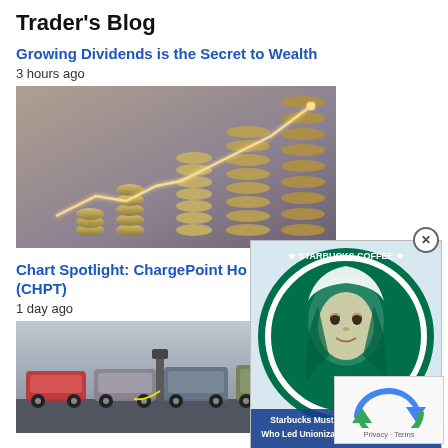Trader's Blog
Growing Dividends is the Secret to Wealth
3 hours ago
[Figure (photo): Stacks of coins increasing in height with a glowing upward trend line chart overlay, blurred city background]
Chart Spotlight: ChargePoint Ho (CHPT)
1 day ago
[Figure (photo): Electric cars parked and charging at charging stations]
[Figure (photo): Advertisement overlay showing Starbucks logo with caption: Starbucks Must Rehire Fired Workers Who Led Unionization Effort, Judge Rules]
[Figure (other): reCAPTCHA widget with Privacy and Terms text]